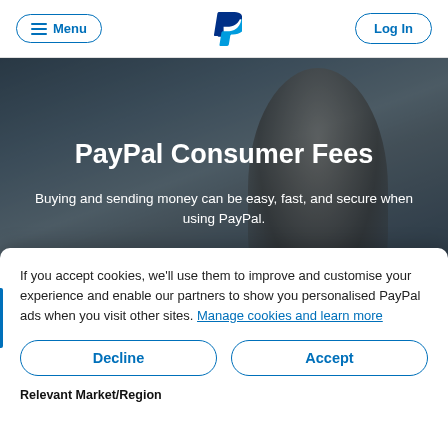Menu | PayPal | Log In
PayPal Consumer Fees
Buying and sending money can be easy, fast, and secure when using PayPal.
If you accept cookies, we'll use them to improve and customise your experience and enable our partners to show you personalised PayPal ads when you visit other sites. Manage cookies and learn more
Decline
Accept
Relevant Market/Region